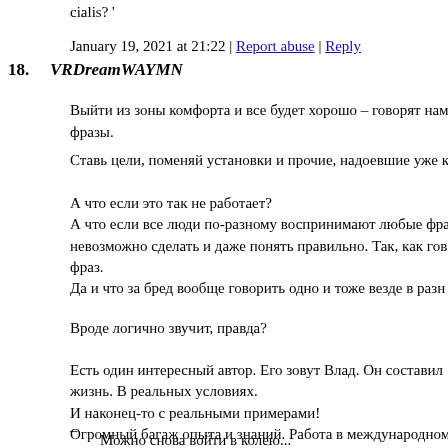cialis? '
January 19, 2021 at 21:22 | Report abuse | Reply
18. VRDreamWAYMN
Выйти из зоны комфорта и все будет хорошо – говорят нам фразы.
Ставь цели, поменяй установки и прочие, надоевшие уже к
А что если это так не работает?
А что если все люди по-разному воспринимают любые фр
невозможно сделать и даже понять правильно. Так, как гов
фраз.
Да и что за бред вообще говорить одно и тоже везде в разн
Вроде логично звучит, правда?
Есть один интересный автор. Его зовут Влад. Он составил
жизнь. В реальных условиях.
И наконец-то с реальными примерами!
Огромный багаж опыта и знаний. Работа в международном
жизнь в трёх странах. Глубокое изучения психологии и под
последствия.
–
Можно снова войти в колею...